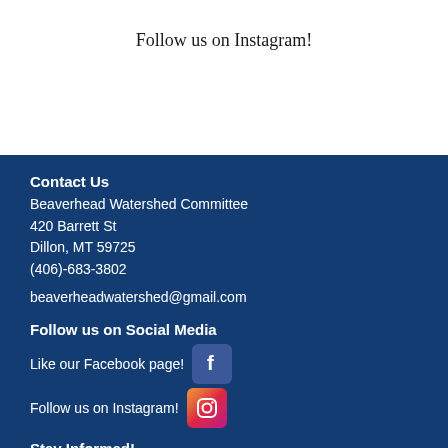Follow us on Instagram!
Contact Us
Beaverhead Watershed Committee
420 Barrett St
Dillon, MT 59725
(406)-683-3802
beaverheadwatershed@gmail.com
Follow us on Social Media
Like our Facebook page!
[Figure (logo): Facebook logo icon — blue square with white 'f']
Follow us on Instagram!
[Figure (logo): Instagram camera icon logo]
Stay Informed!